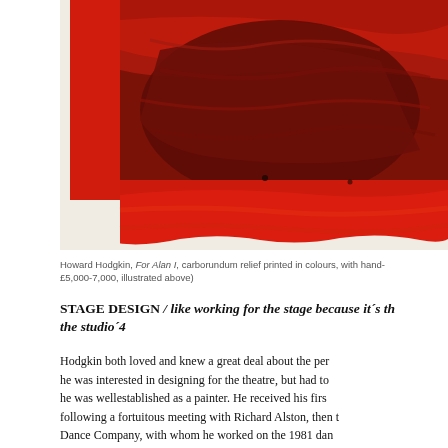[Figure (illustration): Detail of Howard Hodgkin artwork 'For Alan I' — abstract painting dominated by rich red and dark brownish-red brushstrokes, with a thick red border and white margin visible at bottom left.]
Howard Hodgkin, For Alan I, carborundum relief printed in colours, with hand- £5,000-7,000, illustrated above)
STAGE DESIGN / like working for the stage because it´s th the studio´4
Hodgkin both loved and knew a great deal about the per he was interested in designing for the theatre, but had to he was wellestablished as a painter. He received his firs following a fortuitous meeting with Richard Alston, then t Dance Company, with whom he worked on the 1981 dan excursion into the theatre sparked a thirty-year foray into